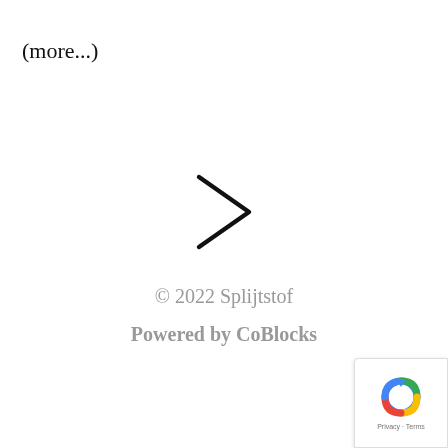(more...)
[Figure (other): A right-angle chevron / greater-than arrow symbol pointing right, centered on the page]
© 2022 Splijtstof
Powered by CoBlocks
[Figure (other): Google reCAPTCHA badge showing a blue recycling-style arrow icon with 'Privacy · Terms' text, positioned in the bottom-right corner]